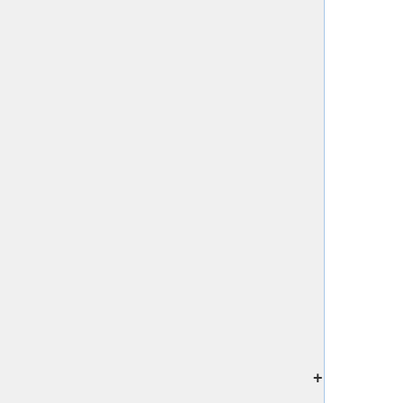meant to go with the rest of the [http://tronweb.super-nova.co.jp/homepage.html TRON] [http://30th.tron.org/en/tp30-04.html project] which was slowed down after diplomatic pressure. TRON never went away but is less visible, and the [https://ja.wikipedia.org/wiki/TRONCHIP CPU] is also hard to obtain [